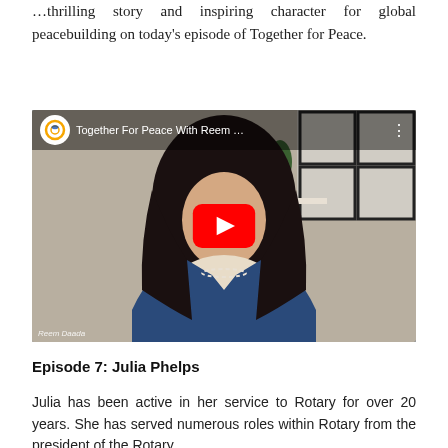…thrilling story and inspiring character for global peacebuilding on today's episode of Together for Peace.
[Figure (screenshot): YouTube video thumbnail for 'Together For Peace With Reem…' showing a woman with dark hair wearing a blue blazer and pearl necklace, smiling. A red YouTube play button is centered on the video. The top bar shows a Rotary International channel icon and the video title.]
Episode 7: Julia Phelps
Julia has been active in her service to Rotary for over 20 years. She has served numerous roles within Rotary from the president of the Rotary…